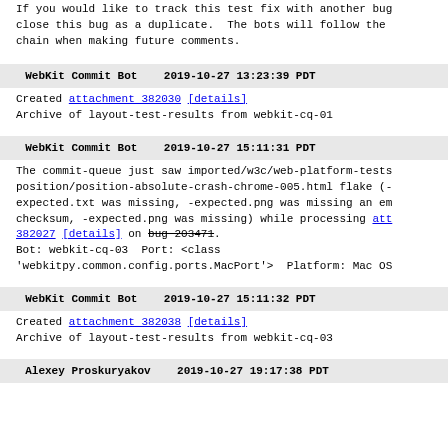If you would like to track this test fix with another bug close this bug as a duplicate.  The bots will follow the chain when making future comments.
WebKit Commit Bot    2019-10-27 13:23:39 PDT
Created attachment 382030 [details]
Archive of layout-test-results from webkit-cq-01
WebKit Commit Bot    2019-10-27 15:11:31 PDT
The commit-queue just saw imported/w3c/web-platform-tests position/position-absolute-crash-chrome-005.html flake (- expected.txt was missing, -expected.png was missing an em checksum, -expected.png was missing) while processing att 382027 [details] on bug 203471.
Bot: webkit-cq-03  Port: <class 'webkitpy.common.config.ports.MacPort'>  Platform: Mac OS
WebKit Commit Bot    2019-10-27 15:11:32 PDT
Created attachment 382038 [details]
Archive of layout-test-results from webkit-cq-03
Alexey Proskuryakov    2019-10-27 19:17:38 PDT